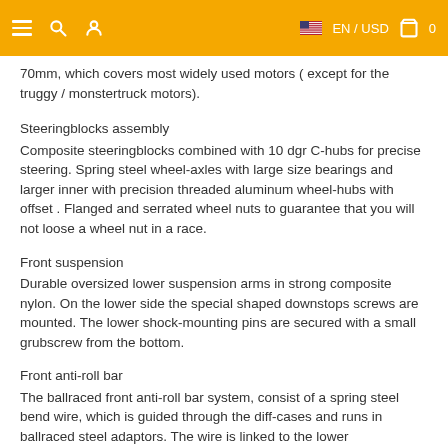≡  🔍  👤   🇺🇸 EN / USD  🛒  0
70mm, which covers most widely used motors ( except for the truggy / monstertruck motors).
Steeringblocks assembly
Composite steeringblocks combined with 10 dgr C-hubs for precise steering. Spring steel wheel-axles with large size bearings and larger inner with precision threaded aluminum wheel-hubs with offset . Flanged and serrated wheel nuts to guarantee that you will not loose a wheel nut in a race.
Front suspension
Durable oversized lower suspension arms in strong composite nylon. On the lower side the special shaped downstops screws are mounted. The lower shock-mounting pins are secured with a small grubscrew from the bottom.
Front anti-roll bar
The ballraced front anti-roll bar system, consist of a spring steel bend wire, which is guided through the diff-cases and runs in ballraced steel adaptors. The wire is linked to the lower